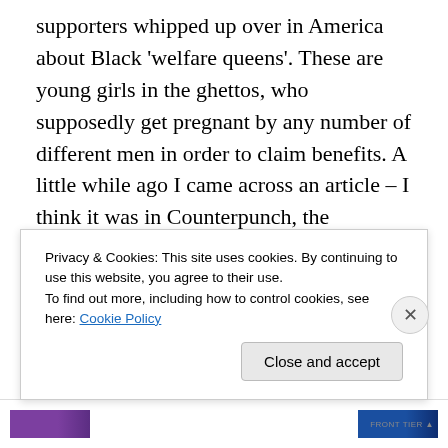supporters whipped up over in America about Black 'welfare queens'. These are young girls in the ghettos, who supposedly get pregnant by any number of different men in order to claim benefits. A little while ago I came across an article – I think it was in Counterpunch, the American radical magazine and news site – which argued that the Republicans used Blacks and ethnic minorities to hate on other people of colour. They supported the argument with numerous examples of BAME Republicans attacking Muslims as an invasive culture, incompatible with American culture and values, and the Black
Privacy & Cookies: This site uses cookies. By continuing to use this website, you agree to their use.
To find out more, including how to control cookies, see here: Cookie Policy
Close and accept